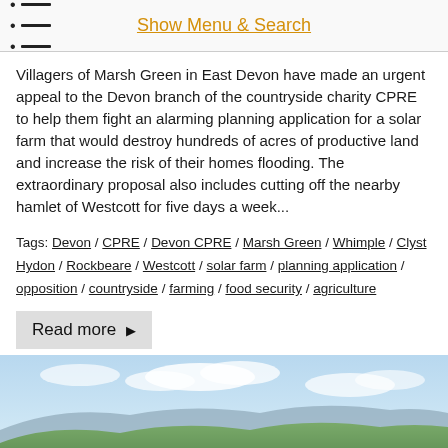Show Menu & Search
Villagers of Marsh Green in East Devon have made an urgent appeal to the Devon branch of the countryside charity CPRE to help them fight an alarming planning application for a solar farm that would destroy hundreds of acres of productive land and increase the risk of their homes flooding. The extraordinary proposal also includes cutting off the nearby hamlet of Westcott for five days a week...
Tags: Devon / CPRE / Devon CPRE / Marsh Green / Whimple / Clyst Hydon / Rockbeare / Westcott / solar farm / planning application / opposition / countryside / farming / food security / agriculture
Read more ▶
[Figure (photo): Scenic countryside landscape with green rolling hills, trees, and blue sky with clouds — likely Devon countryside]